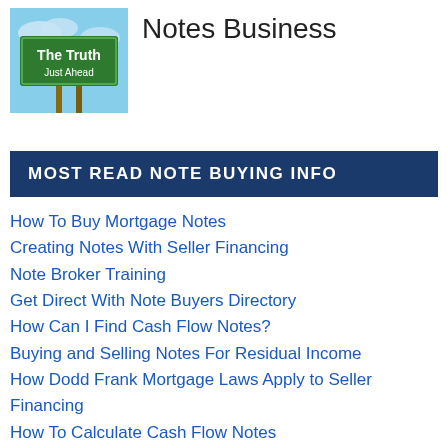[Figure (photo): Green road sign reading 'The Truth Just Ahead' against a blue sky background]
Notes Business
MOST READ NOTE BUYING INFO
How To Buy Mortgage Notes
Creating Notes With Seller Financing
Note Broker Training
Get Direct With Note Buyers Directory
How Can I Find Cash Flow Notes?
Buying and Selling Notes For Residual Income
How Dodd Frank Mortgage Laws Apply to Seller Financing
How To Calculate Cash Flow Notes
Note Investing 101 Series Videos